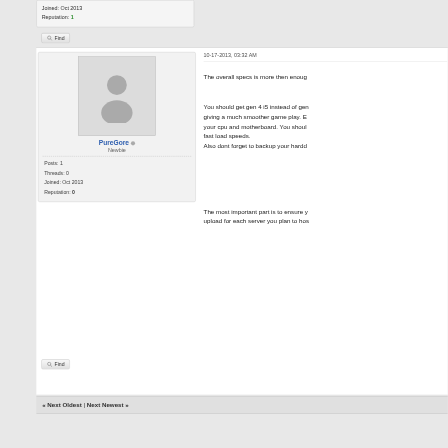Joined: Oct 2013
Reputation: 1
Find
10-17-2013, 03:32 AM
[Figure (illustration): Default user avatar silhouette in gray box]
PureGore
Newbie
Posts: 1
Threads: 0
Joined: Oct 2013
Reputation: 0
The overall specs is more then enoug
You should get gen 4 i5 instead of gen giving a much smoother game play. E your cpu and motherboard. You shoul fast load speeds.
Also dont forget to backup your hardd
The most important part is to ensure y upload for each server you plan to hos
Find
« Next Oldest | Next Newest »